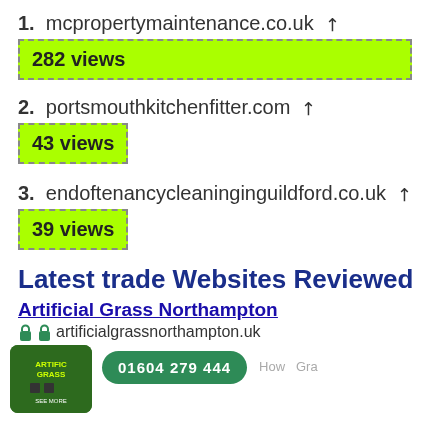1. mcpropertymaintenance.co.uk ↗
282 views
2. portsmouthkitchenfitter.com ↗
43 views
3. endoftenancycleaninginguildford.co.uk ↗
39 views
Latest trade Websites Reviewed
Artificial Grass Northampton
artificialgrassnorthampton.uk
[Figure (screenshot): Preview thumbnail of Artificial Grass Northampton website showing green grass image, phone number 01604 279 444, and partial navigation]